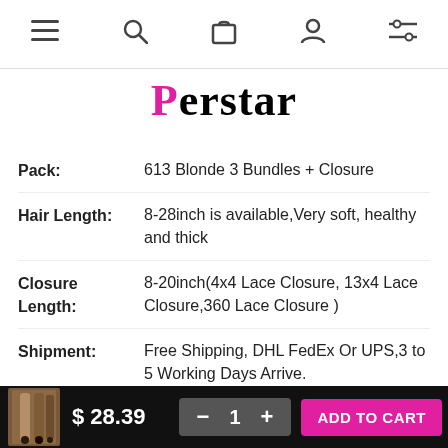Navigation bar with menu, search, cart, account, and filter icons
Perstar
| Attribute | Value |
| --- | --- |
| Pack: | 613 Blonde 3 Bundles + Closure |
| Hair Length: | 8-28inch is available,Very soft, healthy and thick |
| Closure Length: | 8-20inch(4x4 Lace Closure, 13x4 Lace Closure,360 Lace Closure ) |
| Shipment: | Free Shipping, DHL FedEx Or UPS,3 to 5 Working Days Arrive. |
| Free Gift: | Fake Eyelashes,Hair Spray Bottle |
| Factory | With a factory history of more than 15 |
$ 28.39  −  1  +  ADD TO CART